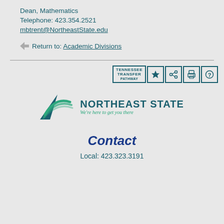Dean, Mathematics
Telephone: 423.354.2521
mbtrent@NortheastState.edu
Return to: Academic Divisions
[Figure (logo): Tennessee Transfer Pathway badge with star, share, print, and help icons]
[Figure (logo): Northeast State logo with swoosh graphic and tagline 'We're here to get you there']
Contact
Local: 423.323.3191